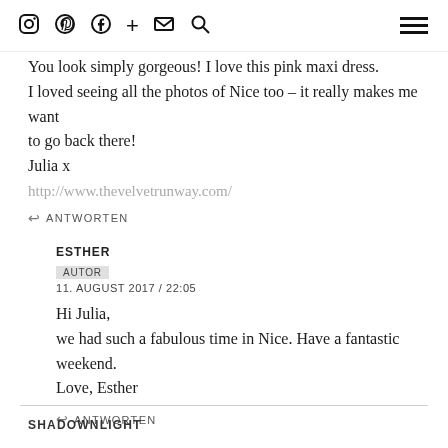Instagram Pinterest Facebook + Mail Search [hamburger menu]
You look simply gorgeous! I love this pink maxi dress.
I loved seeing all the photos of Nice too – it really makes me want to go back there!
Julia x
http://www.thevelvetrunway.com/
↩ ANTWORTEN
ESTHER
AUTOR
11. AUGUST 2017 / 22:05
Hi Julia,
we had such a fabulous time in Nice. Have a fantastic weekend.
Love, Esther
↩ ANTWORTEN
SHADOWNLIGHT